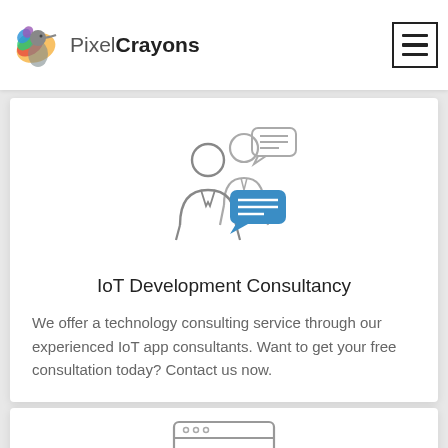PixelCrayons
[Figure (illustration): Icon of two people consulting with chat bubbles — one blue speech bubble with lines representing text, one grey person with a speech bubble above]
IoT Development Consultancy
We offer a technology consulting service through our experienced IoT app consultants. Want to get your free consultation today? Contact us now.
[Figure (illustration): Partial icon of a code editor or browser window with code brackets visible at bottom of page]